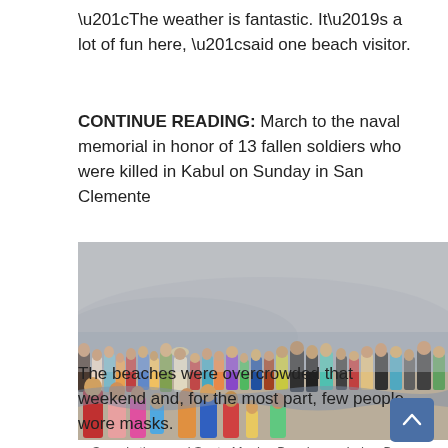“The weather is fantastic. It’s a lot of fun here, “said one beach visitor.
CONTINUE READING: March to the naval memorial in honor of 13 fallen soldiers who were killed in Kabul on Sunday in San Clemente
[Figure (photo): Crowds of people on Santa Monica Beach over Labor Day weekend, hazy sky in background.]
Crowds thronged Santa Monica Beach over Labor Day weekend. (Credit: CBS)
The beaches were overcrowded that weekend and, for the most part, few people wore masks.